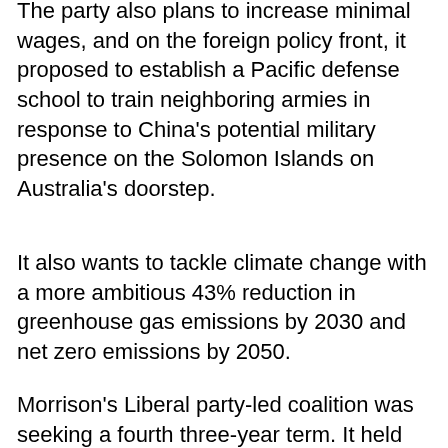The party also plans to increase minimal wages, and on the foreign policy front, it proposed to establish a Pacific defense school to train neighboring armies in response to China's potential military presence on the Solomon Islands on Australia's doorstep.
It also wants to tackle climate change with a more ambitious 43% reduction in greenhouse gas emissions by 2030 and net zero emissions by 2050.
Morrison's Liberal party-led coalition was seeking a fourth three-year term. It held the narrowest of majorities — 76 seats in the 151-member House of Representatives, where parties need a majority to form a government. In early counting on Saturday, the coalition was on track to win 51 seats, Labor 72, 10 were unaligned lawmakers and 18 were too close to call.
The major parties bled votes to fringe parties and independents, which increases the likelihood of a hung parliament and a minority